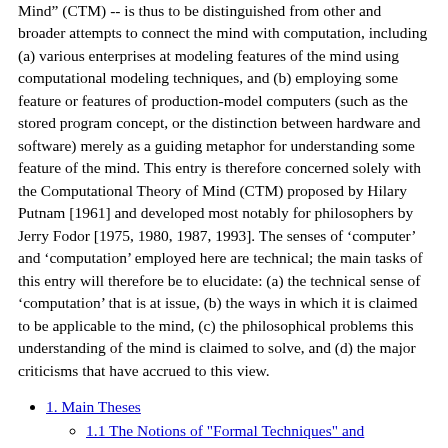Mind" (CTM) -- is thus to be distinguished from other and broader attempts to connect the mind with computation, including (a) various enterprises at modeling features of the mind using computational modeling techniques, and (b) employing some feature or features of production-model computers (such as the stored program concept, or the distinction between hardware and software) merely as a guiding metaphor for understanding some feature of the mind. This entry is therefore concerned solely with the Computational Theory of Mind (CTM) proposed by Hilary Putnam [1961] and developed most notably for philosophers by Jerry Fodor [1975, 1980, 1987, 1993]. The senses of ‘computer’ and ‘computation’ employed here are technical; the main tasks of this entry will therefore be to elucidate: (a) the technical sense of ‘computation’ that is at issue, (b) the ways in which it is claimed to be applicable to the mind, (c) the philosophical problems this understanding of the mind is claimed to solve, and (d) the major criticisms that have accrued to this view.
1. Main Theses
1.1 The Notions of "Formal Techniques" and "Computation"
1.2 Application to the Mind
1.3 Scope of the Theory
2. Philosophical Claims for the Theory
2.1 Reason and Causation
2.2 The Semantics of Mental States